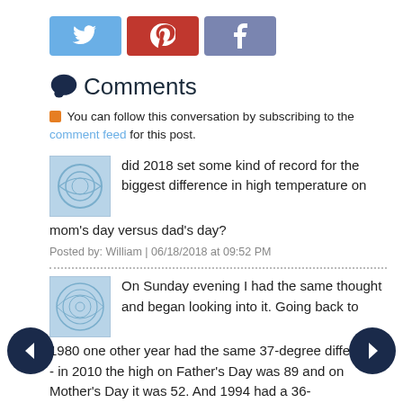[Figure (infographic): Social share buttons: Twitter (blue), Pinterest (red), Facebook (purple-blue)]
Comments
You can follow this conversation by subscribing to the comment feed for this post.
did 2018 set some kind of record for the biggest difference in high temperature on mom's day versus dad's day?
Posted by: William | 06/18/2018 at 09:52 PM
On Sunday evening I had the same thought and began looking into it. Going back to 1980 one other year had the same 37-degree difference - in 2010 the high on Father's Day was 89 and on Mother's Day it was 52. And 1994 had a 36-